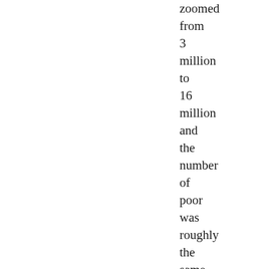zoomed from 3 million to 16 million and the number of poor was roughly the same, things had somehow worsened. As usual, the evidence was